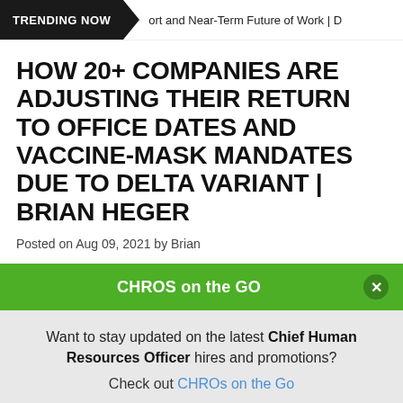TRENDING NOW | ort and Near-Term Future of Work | D
HOW 20+ COMPANIES ARE ADJUSTING THEIR RETURN TO OFFICE DATES AND VACCINE-MASK MANDATES DUE TO DELTA VARIANT | BRIAN HEGER
Posted on Aug 09, 2021 by Brian
CHROS on the GO
Want to stay updated on the latest Chief Human Resources Officer hires and promotions? Check out CHROs on the Go